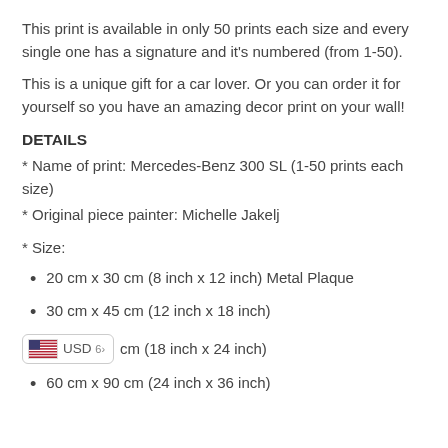This print is available in only 50 prints each size and every single one has a signature and it's numbered (from 1-50).
This is a unique gift for a car lover. Or you can order it for yourself so you have an amazing decor print on your wall!
DETAILS
* Name of print: Mercedes-Benz 300 SL (1-50 prints each size)
* Original piece painter: Michelle Jakelj
* Size:
20 cm x 30 cm (8 inch x 12 inch) Metal Plaque
30 cm x 45 cm (12 inch x 18 inch)
45 cm x 60 cm (18 inch x 24 inch)
60 cm x 90 cm (24 inch x 36 inch)